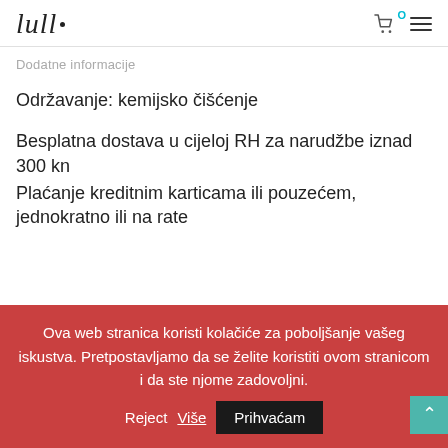lull. [logo] [cart icon with 0] [hamburger menu]
Dodatne informacije
Održavanje: kemijsko čišćenje
Besplatna dostava u cijeloj RH za narudžbe iznad 300 kn
Plaćanje kreditnim karticama ili pouzećem, jednokratno ili na rate
Ova web stranica koristi kolačiće za poboljšanje vašeg iskustva. Pretpostavljamo da se želite koristiti ovom stranicom i da ste njome zadovoljni.
Reject Više